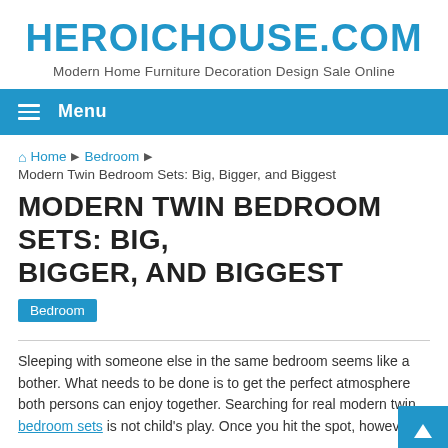HEROICHOUSE.COM
Modern Home Furniture Decoration Design Sale Online
Menu
Home ▶ Bedroom ▶
Modern Twin Bedroom Sets: Big, Bigger, and Biggest
MODERN TWIN BEDROOM SETS: BIG, BIGGER, AND BIGGEST
Bedroom
Sleeping with someone else in the same bedroom seems like a bother. What needs to be done is to get the perfect atmosphere both persons can enjoy together. Searching for real modern twin bedroom sets is not child's play. Once you hit the spot, however